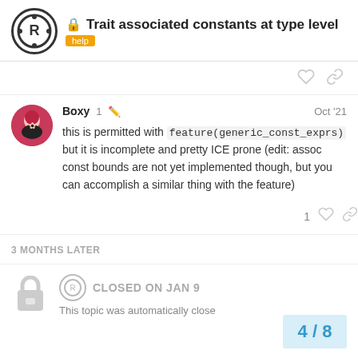Trait associated constants at type level — help
this is permitted with feature(generic_const_exprs) but it is incomplete and pretty ICE prone (edit: assoc const bounds are not yet implemented though, but you can accomplish a similar thing with the feature)
3 MONTHS LATER
CLOSED ON JAN 9
This topic was automatically close
4 / 8